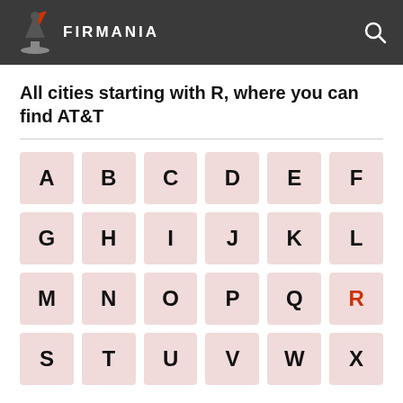FIRMANIA
All cities starting with R, where you can find AT&T
[Figure (infographic): Alphabet navigation grid with letters A through X arranged in rows of 6. Letter R is highlighted in red/orange color. Each letter is displayed in a pinkish square tile.]